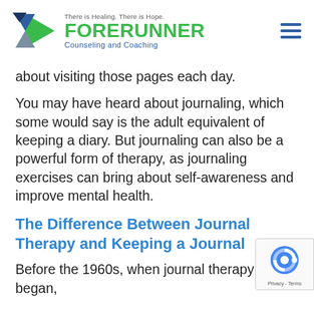[Figure (logo): Forerunner Counseling and Coaching logo with geometric triangle shapes in green, navy, and gray, tagline 'There is Healing. There is Hope.']
about visiting those pages each day.
You may have heard about journaling, which some would say is the adult equivalent of keeping a diary. But journaling can also be a powerful form of therapy, as journaling exercises can bring about self-awareness and improve mental health.
The Difference Between Journal Therapy and Keeping a Journal
Before the 1960s, when journal therapy began,